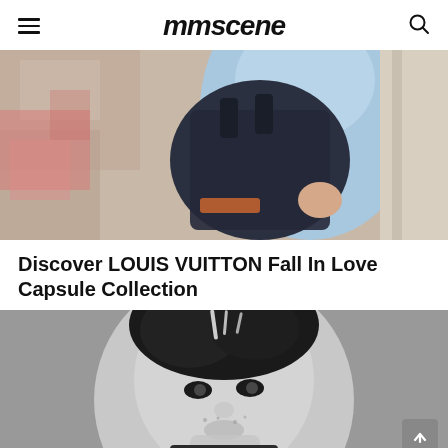mmscene
[Figure (photo): Fashion photo showing a person in a light blue oversized jacket holding a large dark leather bag, against a weathered colorful wall backdrop.]
Discover LOUIS VUITTON Fall In Love Capsule Collection
[Figure (photo): Black and white close-up portrait of a young person with short dark spiky hair with highlights, looking intensely at the camera, hand near face.]